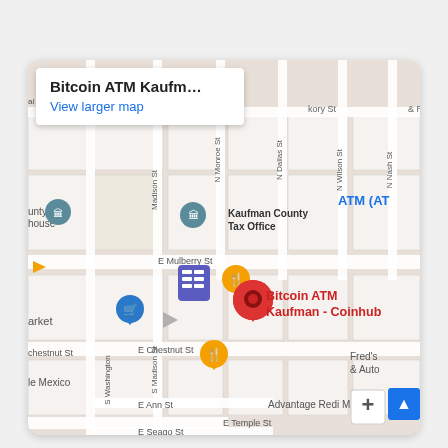[Figure (map): Google Maps screenshot showing a street map of Kaufman, Texas. A red location pin marks 'Bitcoin ATM Kaufman - Coinhub'. Nearby landmarks include Kaufman County Tax Office, ATM (AT), Fred's & Auto, Advantage Redi M, and various street labels: N Monroe St, N Dallas St, N Wilson St, N Nash St, Madison St, S Madison St, S Washington, E Mulberry St, E Chestnut St, E Temple St, E Ann St, E Seago St, Hickory St. An info popup at top-left reads 'Bitcoin ATM Kaufm...' and 'View larger map'. Various map icons (restaurant, shopping cart, courthouse) are shown. A zoom-in (+) button and a blue up-arrow button appear at lower right.]